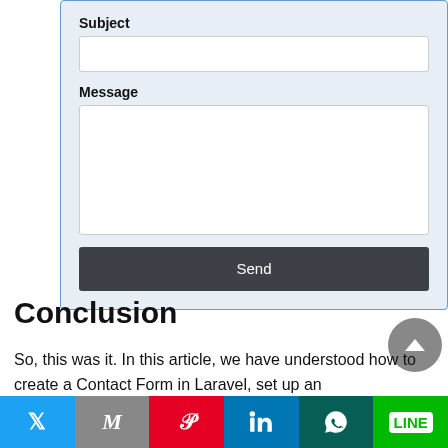[Figure (screenshot): A contact form UI panel with Subject label and text input, Message label and textarea, and a dark Send button, on a light blue background with blue border]
Conclusion
So, this was it. In this article, we have understood how to create a Contact Form in Laravel, set up an
[Figure (other): Social share bar with Twitter, Gmail, Pinterest, LinkedIn, WhatsApp, and LINE buttons]